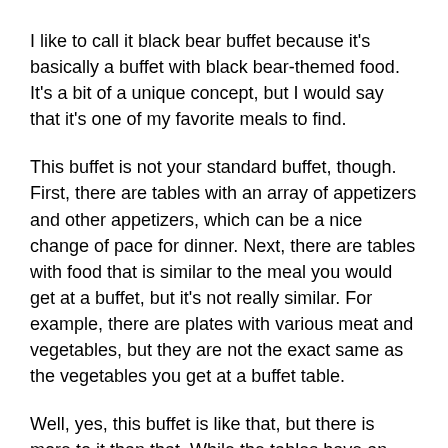I like to call it black bear buffet because it's basically a buffet with black bear-themed food. It's a bit of a unique concept, but I would say that it's one of my favorite meals to find.
This buffet is not your standard buffet, though. First, there are tables with an array of appetizers and other appetizers, which can be a nice change of pace for dinner. Next, there are tables with food that is similar to the meal you would get at a buffet, but it's not really similar. For example, there are plates with various meat and vegetables, but they are not the exact same as the vegetables you get at a buffet table.
Well, yes, this buffet is like that, but there is more to it than that. While the tables have an assortment of dishes, the buffet itself is packed with dishes from different food vendors. I don't know a lot about black bear casino buffet but I do